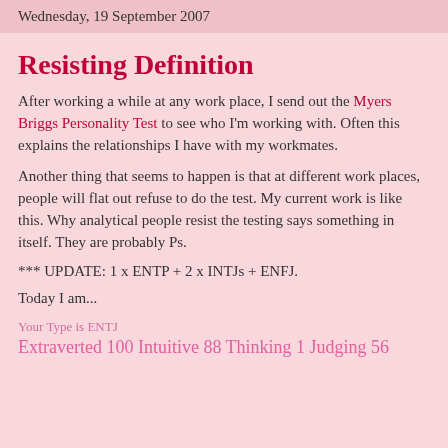Wednesday, 19 September 2007
Resisting Definition
After working a while at any work place, I send out the Myers Briggs Personality Test to see who I'm working with. Often this explains the relationships I have with my workmates.
Another thing that seems to happen is that at different work places, people will flat out refuse to do the test. My current work is like this. Why analytical people resist the testing says something in itself. They are probably Ps.
*** UPDATE: 1 x ENTP + 2 x INTJs + ENFJ.
Today I am...
Your Type is ENTJ
Extraverted 100 Intuitive 88 Thinking 1 Judging 56